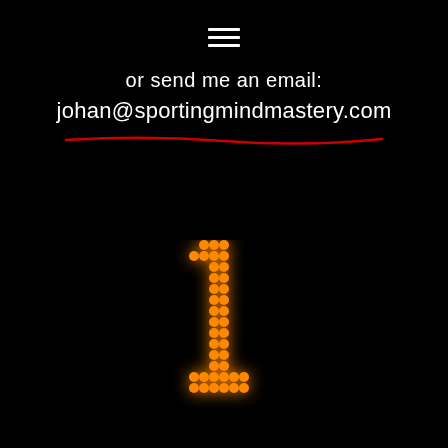[Figure (illustration): Hamburger menu icon (three horizontal white lines) at top center]
or send me an email:
johan@sportingmindmastery.com
[Figure (illustration): Glowing orange dot-matrix number '1' on black background, displayed in lower center of page]